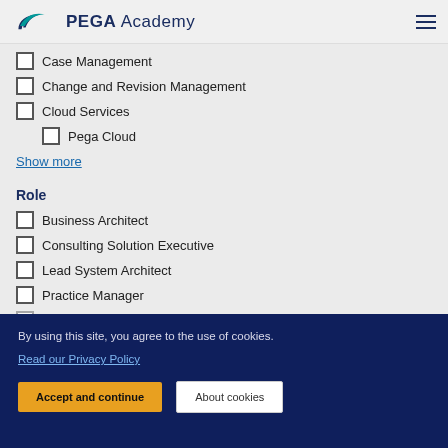PEGA Academy
Case Management
Change and Revision Management
Cloud Services
Pega Cloud
Show more
Role
Business Architect
Consulting Solution Executive
Lead System Architect
Practice Manager
Project Ma... (truncated)
By using this site, you agree to the use of cookies.
Read our Privacy Policy
Accept and continue
About cookies